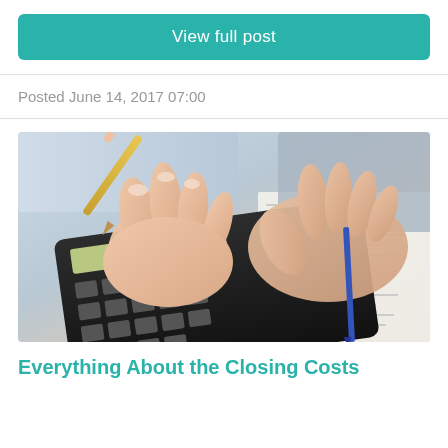View full post
Posted June 14, 2017 07:00
[Figure (photo): Hands using a calculator with a pencil, with financial documents underneath]
Everything About the Closing Costs